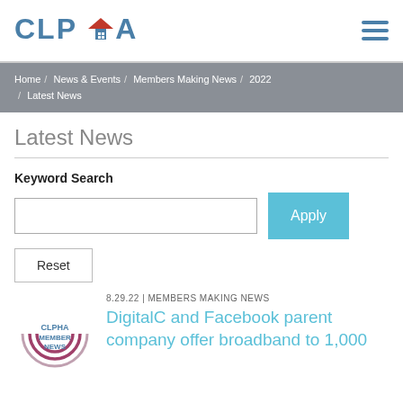[Figure (logo): CLPHA logo with house icon in red and text in blue]
Home / News & Events / Members Making News / 2022 / Latest News
Latest News
Keyword Search
Apply
Reset
8.29.22 | MEMBERS MAKING NEWS
DigitalC and Facebook parent company offer broadband to 1,000